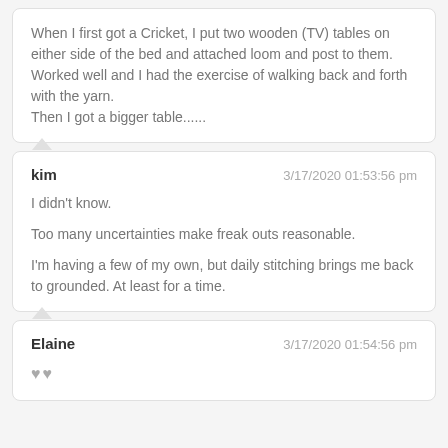When I first got a Cricket, I put two wooden (TV) tables on either side of the bed and attached loom and post to them. Worked well and I had the exercise of walking back and forth with the yarn.
Then I got a bigger table......
kim
3/17/2020 01:53:56 pm
I didn't know.
Too many uncertainties make freak outs reasonable.
I'm having a few of my own, but daily stitching brings me back to grounded. At least for a time.
Elaine
3/17/2020 01:54:56 pm
♥♥